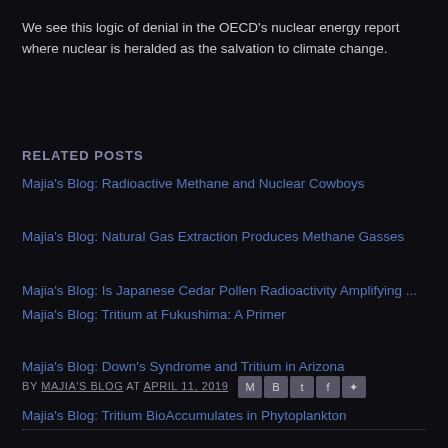We see this logic of denial in the OECD's nuclear energy report where nuclear is heralded as the salvation to climate change.
RELATED POSTS
Majia's Blog: Radioactive Methane and Nuclear Cowboys
Majia's Blog: Natural Gas Extraction Produces Methane Gasses
Majia's Blog: Is Japanese Cedar Pollen Radioactivity Amplifying ...
Majia's Blog: Tritium at Fukushima: A Primer
Majia's Blog: Down's Syndrome and Tritium in Arizona
Majia's Blog: Tritium BioAccumulates in Phytoplankton
BY MAJIA'S BLOG AT APRIL 11, 2019